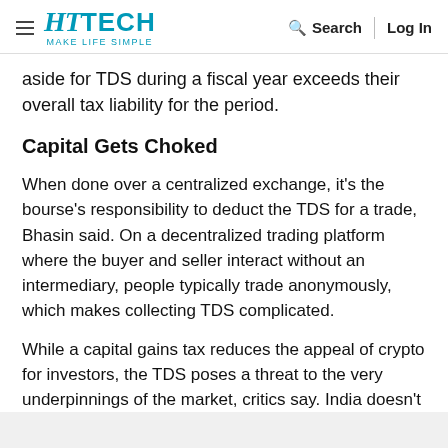HT TECH MAKE LIFE SIMPLE | Search | Log In
aside for TDS during a fiscal year exceeds their overall tax liability for the period.
Capital Gets Choked
When done over a centralized exchange, it's the bourse's responsibility to deduct the TDS for a trade, Bhasin said. On a decentralized trading platform where the buyer and seller interact without an intermediary, people typically trade anonymously, which makes collecting TDS complicated.
While a capital gains tax reduces the appeal of crypto for investors, the TDS poses a threat to the very underpinnings of the market, critics say. India doesn't